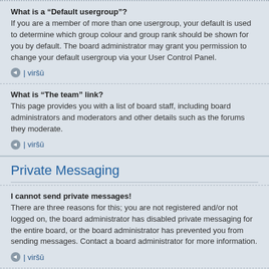What is a “Default usergroup”?
If you are a member of more than one usergroup, your default is used to determine which group colour and group rank should be shown for you by default. The board administrator may grant you permission to change your default usergroup via your User Control Panel.
↑ | viršų
What is “The team” link?
This page provides you with a list of board staff, including board administrators and moderators and other details such as the forums they moderate.
↑ | viršų
Private Messaging
I cannot send private messages!
There are three reasons for this; you are not registered and/or not logged on, the board administrator has disabled private messaging for the entire board, or the board administrator has prevented you from sending messages. Contact a board administrator for more information.
↑ | viršų
I keep getting unwanted private messages!